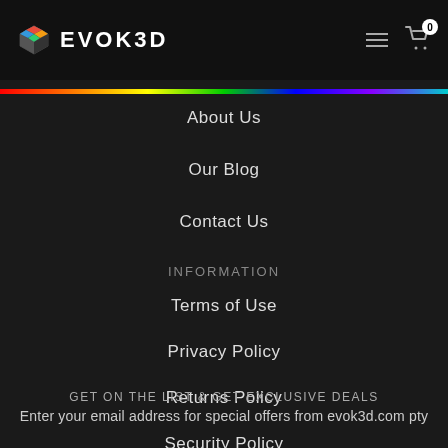EVOK3D
About Us
Our Blog
Contact Us
INFORMATION
Terms of Use
Privacy Policy
Returns Policy
Security Policy
GET ON THE LIST & GET EXCLUSIVE DEALS
Enter your email address for special offers from evok3d.com pty